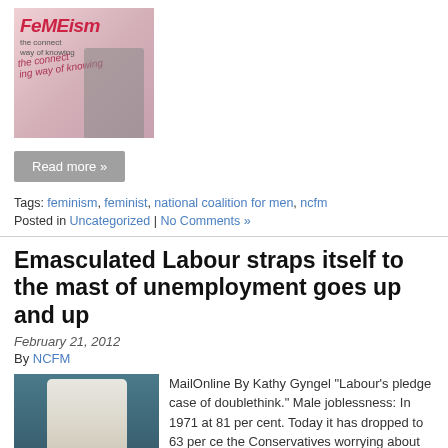[Figure (illustration): FeMEism magazine/flyer cover with stylized text and a figure silhouette on pink/purple background]
Read more »
Tags: feminism, feminist, national coalition for men, ncfm
Posted in Uncategorized | No Comments »
Emasculated Labour straps itself to the mast of unemployment goes up and up
February 21, 2012
By NCFM
[Figure (photo): Young man in white t-shirt with blue collar, looking to the side, against teal background]
MailOnline By Kathy Gyngel "Labour's pledge case of doublethink." Male joblessness: In 1971 at 81 per cent. Today it has dropped to 63 per ce the Conservatives worrying about what...